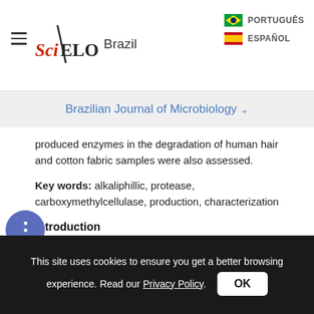SciELO Brazil | PORTUGUÊS | ESPAÑOL
Brazilian Journal of Microbiology
produced enzymes in the degradation of human hair and cotton fabric samples were also assessed.
Key words: alkaliphillic, protease, carboxymethylcellulase, production, characterization
Introduction
Soda lakes represent the major types of naturally occurring highly alkaline environments in which the indigenous microflora is subjected to number of extreme ecological pressures. They represent the
This site uses cookies to ensure you get a better browsing experience. Read our Privacy Policy.